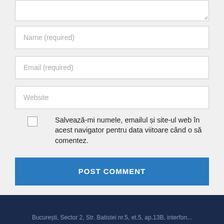[Figure (screenshot): Textarea input box (comment field) at top, partially visible, with resize handle at bottom-right corner]
Name (required)
Email (required)
Website
Salvează-mi numele, emailul și site-ul web în acest navigator pentru data viitoare când o să comentez.
POST COMMENT
București, Sector 2, Str. Batistei nr.5, et.5, ap.13B, interfon...